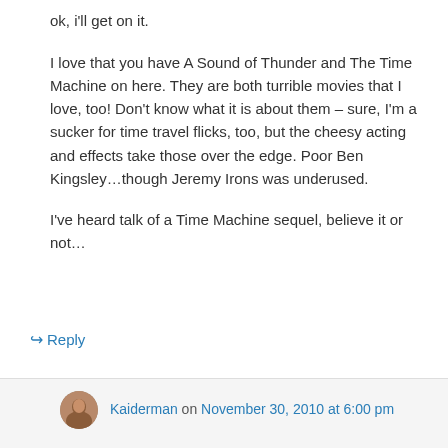ok, i'll get on it.
I love that you have A Sound of Thunder and The Time Machine on here. They are both turrible movies that I love, too! Don't know what it is about them – sure, I'm a sucker for time travel flicks, too, but the cheesy acting and effects take those over the edge. Poor Ben Kingsley…though Jeremy Irons was underused.
I've heard talk of a Time Machine sequel, believe it or not…
↳ Reply
Kaiderman on November 30, 2010 at 6:00 pm